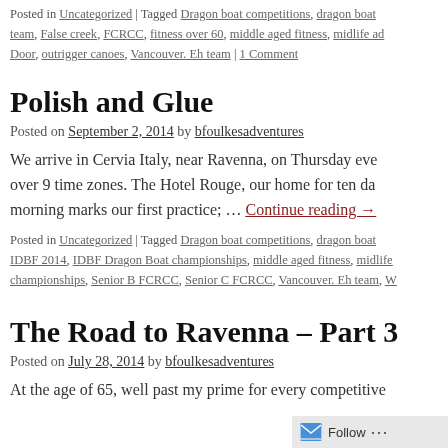Posted in Uncategorized | Tagged Dragon boat competitions, dragon boat team, False creek, FCRCC, fitness over 60, middle aged fitness, midlife ad Door, outrigger canoes, Vancouver. Eh team | 1 Comment
Polish and Glue
Posted on September 2, 2014 by bfoulkesadventures
We arrive in Cervia Italy, near Ravenna, on Thursday eve over 9 time zones. The Hotel Rouge, our home for ten da morning marks our first practice; … Continue reading →
Posted in Uncategorized | Tagged Dragon boat competitions, dragon boat IDBF 2014, IDBF Dragon Boat championships, middle aged fitness, midlife championships, Senior B FCRCC, Senior C FCRCC, Vancouver. Eh team, W
The Road to Ravenna – Part 3
Posted on July 28, 2014 by bfoulkesadventures
At the age of 65, well past my prime for every competitive